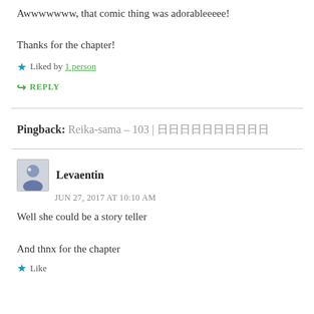Awwwwwww, that comic thing was adorableeeee!

Thanks for the chapter!
★ Liked by 1 person
↪ REPLY
Pingback: Reika-sama – 103 | 日日日日日日日日日日
Levaentin
JUN 27, 2017 AT 10:10 AM
Well she could be a story teller

And thnx for the chapter
★ Like